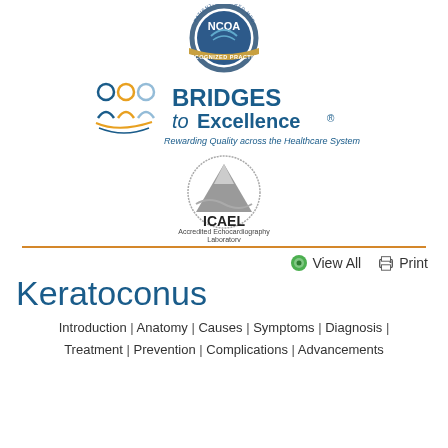[Figure (logo): NCQA Patient-Centered Medical Home Recognized Practice seal/badge]
[Figure (logo): Bridges to Excellence logo with tagline: Rewarding Quality across the Healthcare System]
[Figure (logo): ICAEL Accredited Echocardiography Laboratory logo]
View All   Print
Keratoconus
Introduction | Anatomy | Causes | Symptoms | Diagnosis | Treatment | Prevention | Complications | Advancements